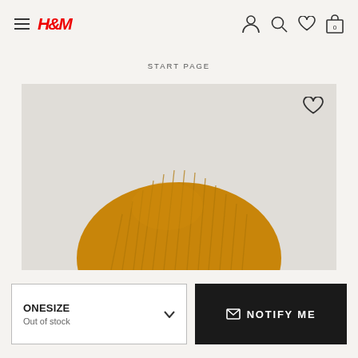H&M header with hamburger menu, H&M logo, and icons for account, search, wishlist, cart (0)
START PAGE
[Figure (photo): Product photo of a mustard/golden yellow ribbed knit beanie hat on a light grey background, with a heart/wishlist icon in the top right corner of the image]
ONESIZE
Out of stock
NOTIFY ME